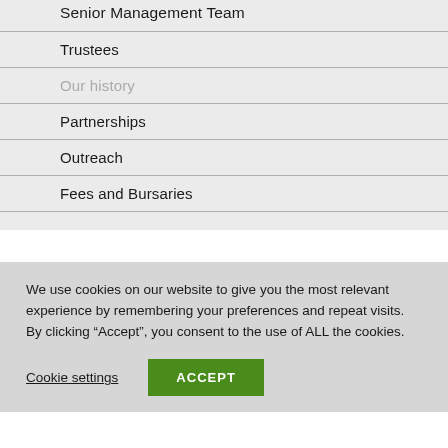Senior Management Team
Trustees
Our history
Partnerships
Outreach
Fees and Bursaries
We use cookies on our website to give you the most relevant experience by remembering your preferences and repeat visits. By clicking “Accept”, you consent to the use of ALL the cookies.
Cookie settings
ACCEPT